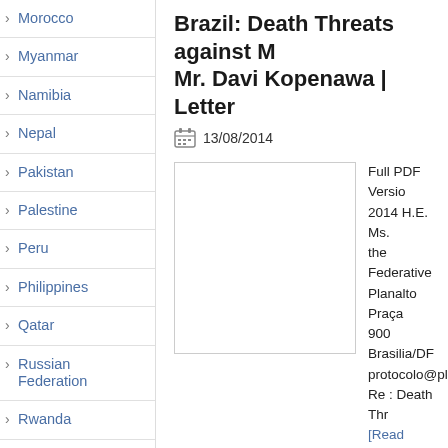Morocco
Myanmar
Namibia
Nepal
Pakistan
Palestine
Peru
Philippines
Qatar
Russian Federation
Rwanda
Saudi Arabia
Sierra Leone
Brazil: Death Threats against Mr. Davi Kopenawa | Letter
13/08/2014
Full PDF Version 2014 H.E. Ms. the Federative Planalto Praça 900 Brasilia/DR protocolo@plan Re : Death Thr [Read more...]
Brazil: Arbitrary Arrest and As Daniel Biral and Silvia Dascal